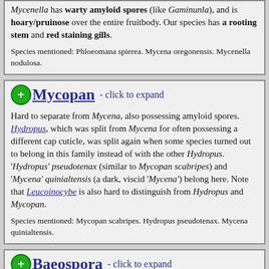Mycenella has warty amyloid spores (like Gaminunla), and is hoary/pruinose over the entire fruitbody. Our species has a rooting stem and red staining gills.
Species mentioned: Phloeomana spierea. Mycena oregonensis. Mycenella nodulosa.
Mycopan - click to expand
Hard to separate from Mycena, also possessing amyloid spores. Hydropus, which was split from Mycena for often possessing a different cap cuticle, was split again when some species turned out to belong in this family instead of with the other Hydropus. 'Hydropus' pseudotenax (similar to Mycopan scabripes) and 'Mycena' quinialtensis (a dark, viscid 'Mycena') belong here. Note that Leucoinocybe is also hard to distinguish from Hydropus and Mycopan.
Species mentioned: Mycopan scabripes. Hydropus pseudotenax. Mycena quinialtensis.
Baeospora - click to expand
Small crowded gilled collybioids. One small species grows on